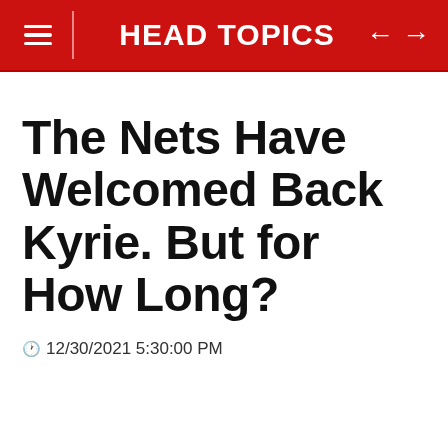HEAD TOPICS
The Nets Have Welcomed Back Kyrie. But for How Long?
🕐 12/30/2021 5:30:00 PM